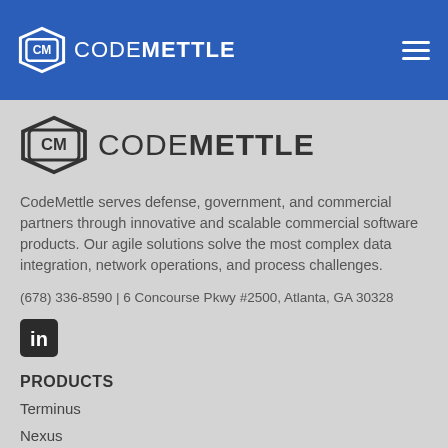CodeMettle (logo + navigation header bar)
[Figure (logo): CodeMettle logo large — CM shield emblem with text CODE METTLE]
CodeMettle serves defense, government, and commercial partners through innovative and scalable commercial software products. Our agile solutions solve the most complex data integration, network operations, and process challenges.
(678) 336-8590 | 6 Concourse Pkwy #2500, Atlanta, GA 30328
[Figure (logo): LinkedIn icon — white 'in' on dark rounded square]
PRODUCTS
Terminus
Nexus
Meridian